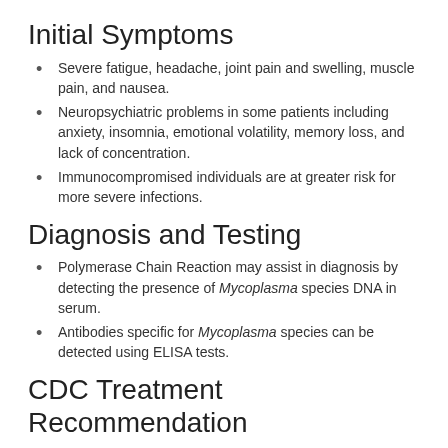Initial Symptoms
Severe fatigue, headache, joint pain and swelling, muscle pain, and nausea.
Neuropsychiatric problems in some patients including anxiety, insomnia, emotional volatility, memory loss, and lack of concentration.
Immunocompromised individuals are at greater risk for more severe infections.
Diagnosis and Testing
Polymerase Chain Reaction may assist in diagnosis by detecting the presence of Mycoplasma species DNA in serum.
Antibodies specific for Mycoplasma species can be detected using ELISA tests.
CDC Treatment Recommendation
Please consult with your physician for treatment information.